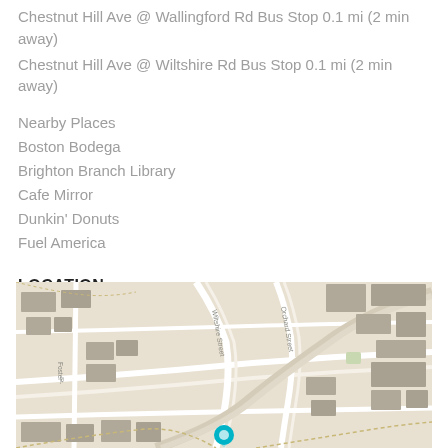Chestnut Hill Ave @ Wallingford Rd Bus Stop 0.1 mi (2 min away)
Chestnut Hill Ave @ Wiltshire Rd Bus Stop 0.1 mi (2 min away)
Nearby Places
Boston Bodega
Brighton Branch Library
Cafe Mirror
Dunkin' Donuts
Fuel America
LOCATION
[Figure (map): Street map showing the Brighton/Chestnut Hill area of Boston with roads including Wiltshire Street and Orchard Street, with a teal location pin marker at the bottom center of the map.]